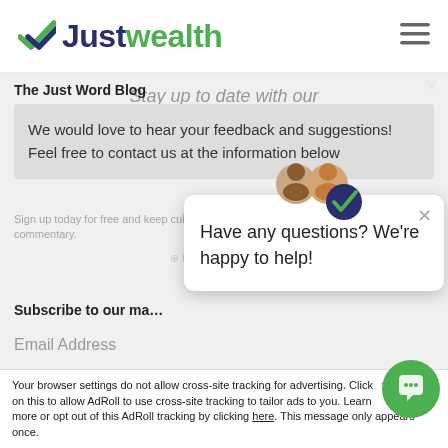[Figure (logo): Justwealth logo with green checkmark and two-tone text: 'Just' in dark navy, 'wealth' in green]
[Figure (infographic): Hamburger menu icon (three horizontal lines) in top right of header]
Stay up to date with our Quarterly Newsletter
Sign up today for free and keep current on the markets with our quarterly market commentary.
The Just Word Blog
We would love to hear your feedback and suggestions! Feel free to contact us at the information below
Subscribe to our ma…
Email Address
[Figure (infographic): Chat widget popup with two avatars (man and woman) above a white card. Card contains close X button and text: 'Have any questions? We're happy to help!']
Have any questions? We're happy to help!
Your browser settings do not allow cross-site tracking for advertising. Click on this to allow AdRoll to use cross-site tracking to tailor ads to you. Learn more or opt out of this AdRoll tracking by clicking here. This message only appears once.
[Figure (infographic): Green circular chat button in bottom right corner]